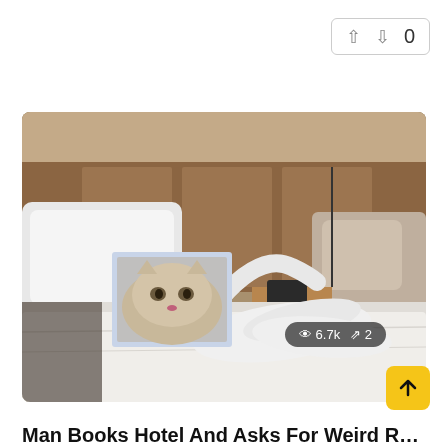[Figure (other): Vote buttons: up arrow, down arrow, and count 0 in a rounded rectangle border]
[Figure (photo): Hotel room scene with a bed covered in white sheets. A white towel folded into a swan/bird shape sits on the bed, holding a framed photo of a cat in front of its face. Wooden headboard and nightstand visible in background. View stats overlay shows 6.7k views and 2 retweets.]
Man Books Hotel And Asks For Weird Requests